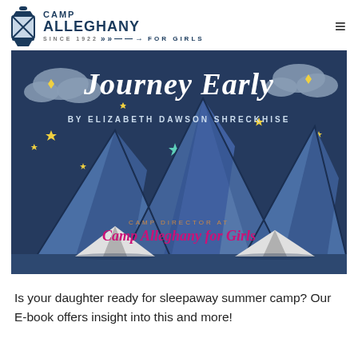Camp Alleghany For Girls
[Figure (illustration): Book cover illustration with dark blue/navy night sky background showing stylized mountains in shades of blue with small white tents at the bottom. Text reads 'Journey Early BY ELIZABETH DAWSON SHRECKHISE' and 'CAMP DIRECTOR AT Camp Alleghany for Girls'. Decorative stars in yellow and teal scattered across the sky, with grey clouds on left and right.]
Is your daughter ready for sleepaway summer camp? Our E-book offers insight into this and more!